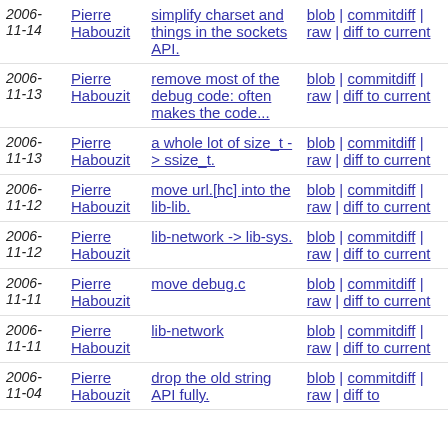| Date | Author | Commit | Links |
| --- | --- | --- | --- |
| 2006-11-14 | Pierre Habouzit | simplify charset and things in the sockets API. | blob | commitdiff | raw | diff to current |
| 2006-11-13 | Pierre Habouzit | remove most of the debug code: often makes the code... | blob | commitdiff | raw | diff to current |
| 2006-11-13 | Pierre Habouzit | a whole lot of size_t -> ssize_t. | blob | commitdiff | raw | diff to current |
| 2006-11-12 | Pierre Habouzit | move url.[hc] into the lib-lib. | blob | commitdiff | raw | diff to current |
| 2006-11-12 | Pierre Habouzit | lib-network -> lib-sys. | blob | commitdiff | raw | diff to current |
| 2006-11-11 | Pierre Habouzit | move debug.c | blob | commitdiff | raw | diff to current |
| 2006-11-11 | Pierre Habouzit | lib-network | blob | commitdiff | raw | diff to current |
| 2006-11-04 | Pierre Habouzit | drop the old string API fully. | blob | commitdiff | raw | diff to |